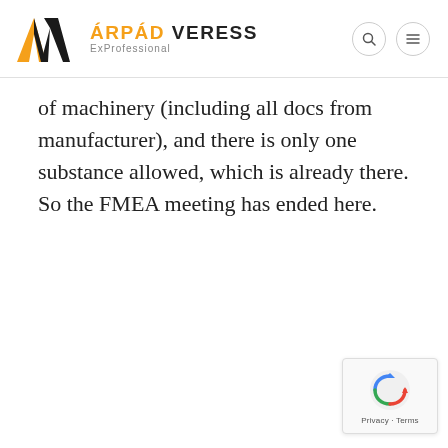ÁRPÁD VERESS ExProfessional
of machinery (including all docs from manufacturer), and there is only one substance allowed, which is already there. So the FMEA meeting has ended here.
[Figure (logo): reCAPTCHA badge with Privacy and Terms links]